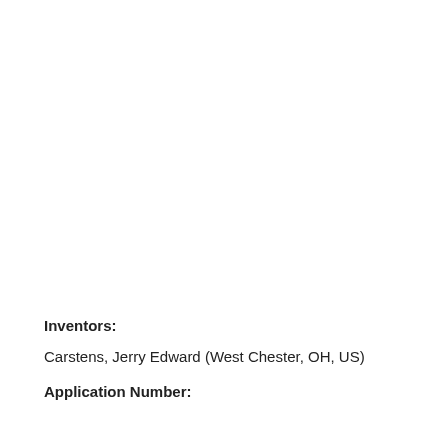Inventors:
Carstens, Jerry Edward (West Chester, OH, US)
Application Number: